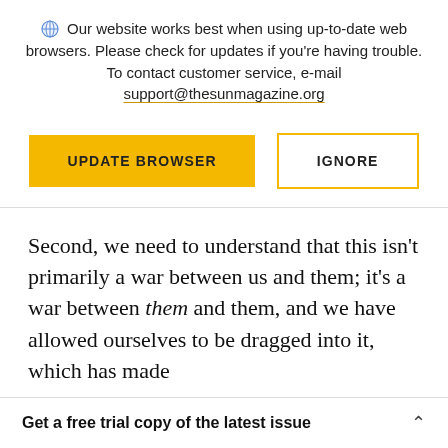Our website works best when using up-to-date web browsers. Please check for updates if you're having trouble. To contact customer service, e-mail support@thesunmagazine.org
[Figure (screenshot): Two buttons: a yellow filled button labeled UPDATE BROWSER and a yellow-outlined white button labeled IGNORE]
Second, we need to understand that this isn't primarily a war between us and them; it's a war between them and them, and we have allowed ourselves to be dragged into it, which has made
Get a free trial copy of the latest issue